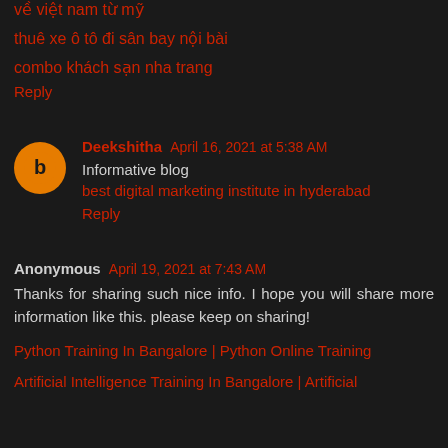về việt nam từ mỹ
thuê xe ô tô đi sân bay nội bài
combo khách sạn nha trang
Reply
Deekshitha  April 16, 2021 at 5:38 AM
Informative blog
best digital marketing institute in hyderabad
Reply
Anonymous  April 19, 2021 at 7:43 AM
Thanks for sharing such nice info. I hope you will share more information like this. please keep on sharing!
Python Training In Bangalore | Python Online Training
Artificial Intelligence Training In Bangalore | Artificial